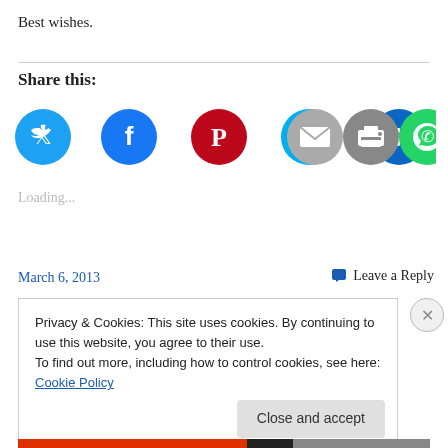Best wishes.
Share this:
[Figure (infographic): Row of social sharing icon circles: Twitter (blue), Facebook (blue), Pinterest (red), Skype (cyan), LinkedIn (dark blue), Email (gray), Print (gray), WhatsApp (green)]
Loading...
March 6, 2013
Leave a Reply
Privacy & Cookies: This site uses cookies. By continuing to use this website, you agree to their use.
To find out more, including how to control cookies, see here: Cookie Policy
Close and accept